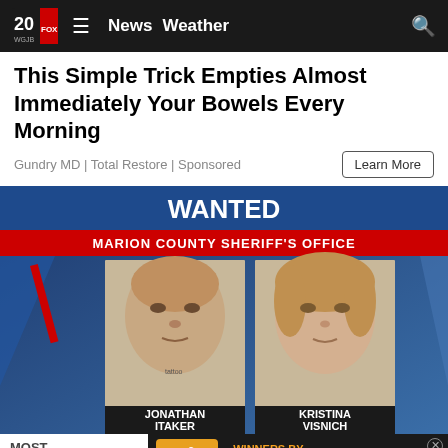20 WGJB | News | Weather
This Simple Trick Empties Almost Immediately Your Bowels Every Morning
Gundry MD | Total Restore | Sponsored
[Figure (screenshot): WANTED poster from Marion County Sheriff's Office showing mugshots of Jonathan Itaker and Kristina Visnich]
MOST
Marion
[Figure (infographic): Lottery advertisement banner: Pick 2 3 4 5 - WINNERS BY THE BUNCH - LEARN MORE - Lottery logo]